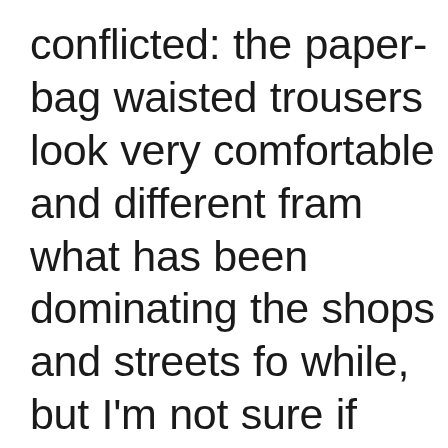conflicted: the paper-bag waisted trousers look very comfortable and different fram what has been dominating the shops and streets for a while, but I'm not sure if they suit me. I have a long torso, but also a long rise, so my waist is placed rather high up my body, and I wonder if the style would accentuate my pear tendencies. I would give them a try and see how it looks.